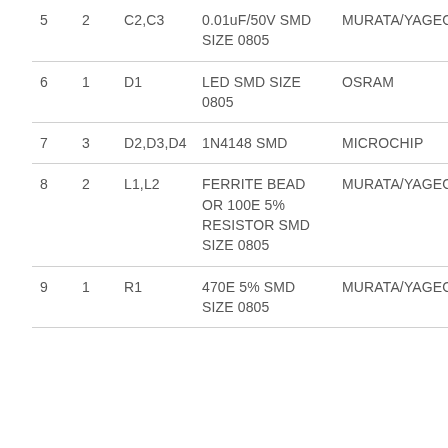| 5 | 2 | C2,C3 | 0.01uF/50V SMD SIZE 0805 | MURATA/YAGEO |
| 6 | 1 | D1 | LED SMD SIZE 0805 | OSRAM |
| 7 | 3 | D2,D3,D4 | 1N4148 SMD | MICROCHIP |
| 8 | 2 | L1,L2 | FERRITE BEAD OR 100E 5% RESISTOR SMD SIZE 0805 | MURATA/YAGEO |
| 9 | 1 | R1 | 470E 5% SMD SIZE 0805 | MURATA/YAGEO |